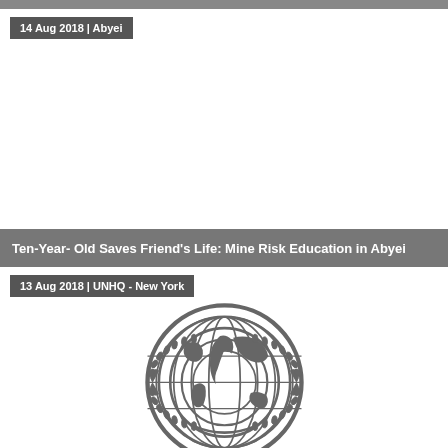14 Aug 2018 | Abyei
[Figure (photo): Large photograph area (white/blank in this rendering) associated with the Abyei article]
Ten-Year- Old Saves Friend's Life: Mine Risk Education in Abyei
13 Aug 2018 | UNHQ - New York
[Figure (logo): United Nations emblem/logo — globe with world map surrounded by olive branch wreath, rendered in dark grey]